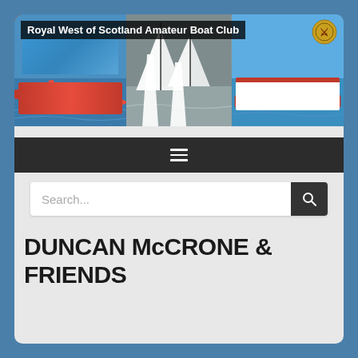[Figure (screenshot): Royal West of Scotland Amateur Boat Club website header banner showing three photos: kayakers in red boats, white sailing dinghies, and a red-and-white rowing boat, with club logo in top right corner]
Royal West of Scotland Amateur Boat Club
[Figure (other): Dark navigation bar with hamburger menu icon (three horizontal lines)]
Search...
DUNCAN McCRONE & FRIENDS